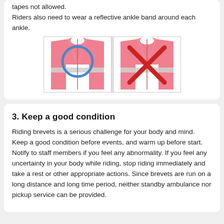tapes not allowed.
Riders also need to wear a reflective ankle band around each ankle.
[Figure (illustration): Two vest illustrations side by side. Left vest with blue circle (approved). Right vest with red X (not approved).]
3. Keep a good condition
Riding brevets is a serious challenge for your body and mind. Keep a good condition before events, and warm up before start. Notify to staff members if you feel any abnormality. If you feel any uncertainty in your body while riding, stop riding immediately and take a rest or other appropriate actions. Since brevets are run on a long distance and long time period, neither standby ambulance nor pickup service can be provided.